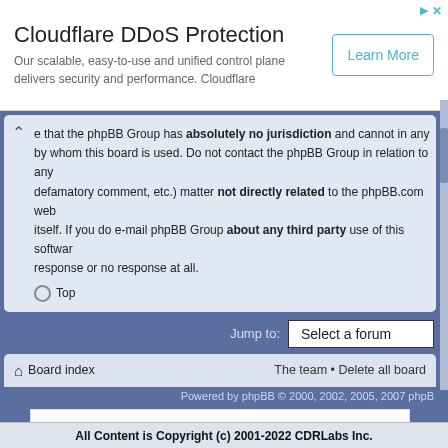[Figure (screenshot): Cloudflare DDoS Protection advertisement banner with Learn More button]
that the phpBB Group has absolutely no jurisdiction and cannot in any by whom this board is used. Do not contact the phpBB Group in relation to any defamatory comment, etc.) matter not directly related to the phpBB.com web itself. If you do e-mail phpBB Group about any third party use of this software response or no response at all.
Top
Jump to:   Select a forum
Board index   The team • Delete all board
Powered by phpBB © 2000, 2002, 2005, 2007 phpB
[Figure (screenshot): Advertisement: Living at Ginger Cove. The Freedom to Chart Your Course, Every Day.]
All Content is Copyright (c) 2001-2022 CDRLabs Inc.